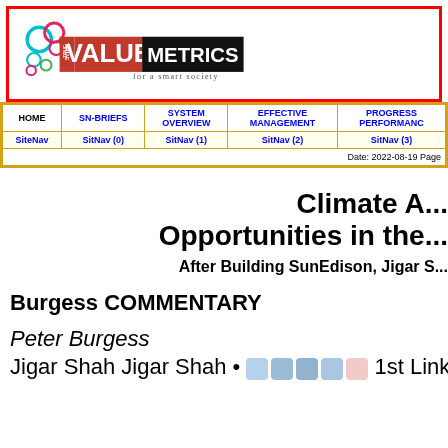[Figure (logo): True Value Metrics logo with gears and subtitle 'for a smart society']
| HOME | SN-BRIEFS | SYSTEM OVERVIEW | EFFECTIVE MANAGEMENT | PROGRESS PERFORMANCE |
| --- | --- | --- | --- | --- |
| SiteNav | SitNav (0) | SitNav (1) | SitNav (2) | SitNav (3) |
| Date: 2022-08-19 Page |
Climate A... Opportunities in the...
After Building SunEdison, Jigar S...
Burgess COMMENTARY
Peter Burgess
Jigar Shah Jigar Shah • 1st LinkedIn Top Ene...